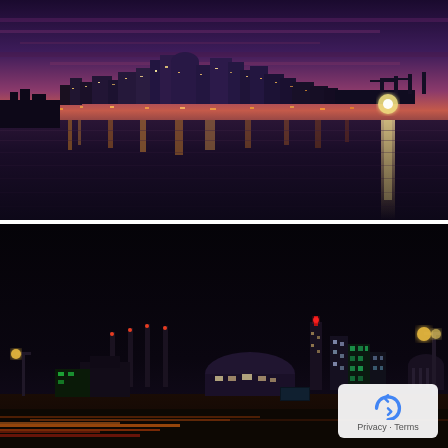[Figure (photo): Night cityscape of Kansas City skyline reflected in a river, with purple and pink twilight sky above and city lights shimmering on the water below.]
[Figure (photo): Night photograph of Kansas City skyline from a distance, showing illuminated buildings, industrial chimneys, and street lights against a very dark sky, with light trails from traffic in the foreground. A Google reCAPTCHA Privacy-Terms badge appears in the lower right corner.]